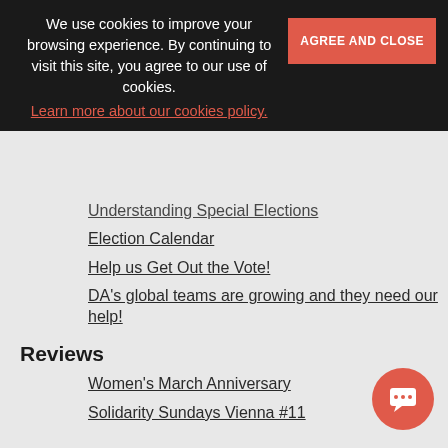We use cookies to improve your browsing experience. By continuing to visit this site, you agree to our use of cookies.
Learn more about our cookies policy.
AGREE AND CLOSE
Understanding Special Elections
Election Calendar
Help us Get Out the Vote!
DA's global teams are growing and they need our help!
Reviews
Women's March Anniversary
Solidarity Sundays Vienna #11
EVENTS:
EXPERIENCED DEMOCRATS MEET-UP
[Figure (logo): Partial logo image at bottom center]